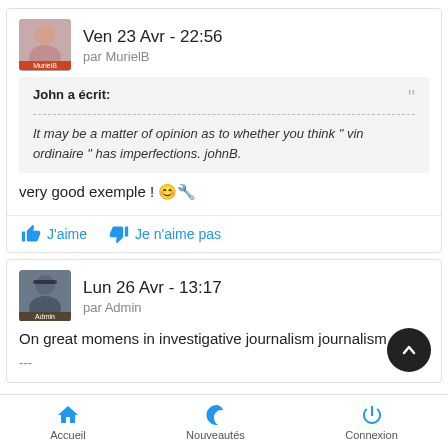Ven 23 Avr - 22:56
par MurielB
John a écrit:
It may be a matter of opinion as to whether you think " vin ordinaire " has imperfections. johnB.
very good exemple ! 🙂🔧
J'aime
Je n'aime pas
Lun 26 Avr - 13:17
par Admin
On great momens in investigative journalism journalism
---
Accueil  Nouveautés  Connexion